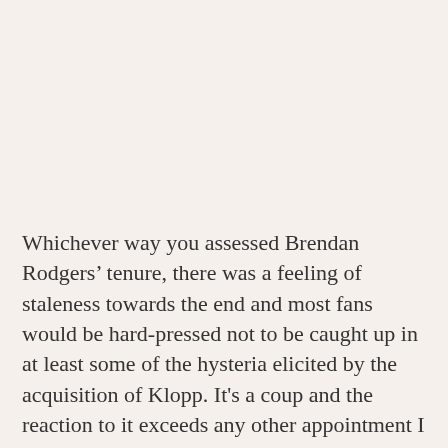Whichever way you assessed Brendan Rodgers' tenure, there was a feeling of staleness towards the end and most fans would be hard-pressed not to be caught up in at least some of the hysteria elicited by the acquisition of Klopp. It's a coup and the reaction to it exceeds any other appointment I can recall; the manager's obvious charisma alone is illustrating why he is in the upper echelon of all of managers in the game. He's provided a lot of answers and the key